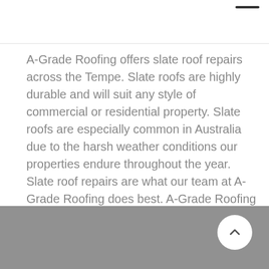A-Grade Roofing offers slate roof repairs across the Tempe. Slate roofs are highly durable and will suit any style of commercial or residential property. Slate roofs are especially common in Australia due to the harsh weather conditions our properties endure throughout the year. Slate roof repairs are what our team at A-Grade Roofing does best. A-Grade Roofing will replace your damaged slate roof tile with a brand new tile in no time.